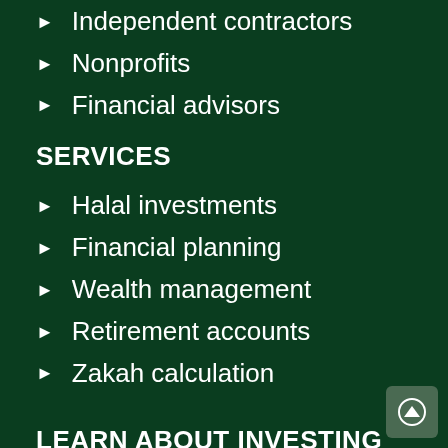Independent contractors
Nonprofits
Financial advisors
SERVICES
Halal investments
Financial planning
Wealth management
Retirement accounts
Zakah calculation
LEARN ABOUT INVESTING
Videos and Webinars
Podcast and Market Recap